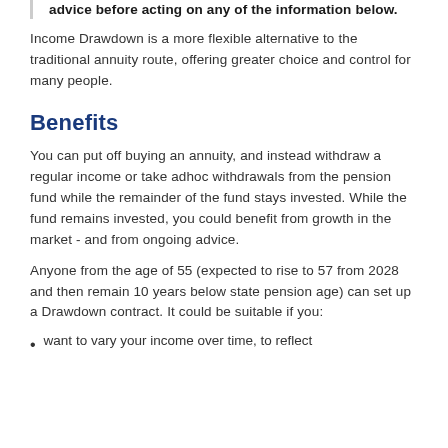advice before acting on any of the information below.
Income Drawdown is a more flexible alternative to the traditional annuity route, offering greater choice and control for many people.
Benefits
You can put off buying an annuity, and instead withdraw a regular income or take adhoc withdrawals from the pension fund while the remainder of the fund stays invested. While the fund remains invested, you could benefit from growth in the market - and from ongoing advice.
Anyone from the age of 55 (expected to rise to 57 from 2028 and then remain 10 years below state pension age) can set up a Drawdown contract. It could be suitable if you:
want to vary your income over time, to reflect